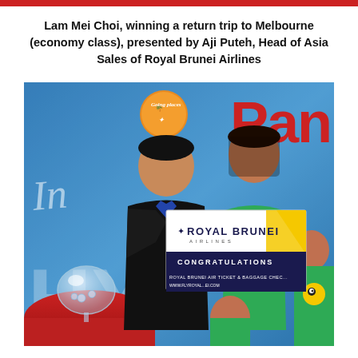Lam Mei Choi, winning a return trip to Melbourne (economy class), presented by Aji Puteh, Head of Asia Sales of Royal Brunei Airlines
[Figure (photo): Photo of people at an event. A man in a dark suit and a woman in a green shirt hold a Royal Brunei Airlines congratulations sign. A blue banner reading 'Going Places Pan' is visible in the background. A child in green and another person in green are also visible. A glass bowl on a red-clothed table is in the foreground left.]